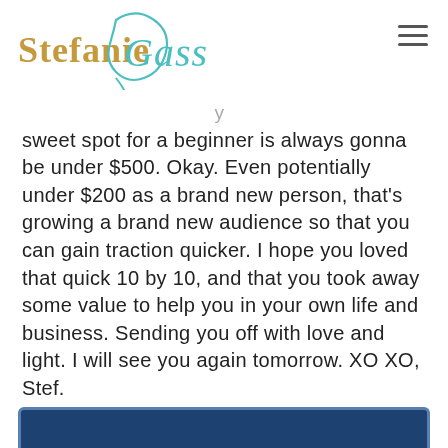Stefanie Gass
sweet spot for a beginner is always gonna be under $500. Okay. Even potentially under $200 as a brand new person, that's growing a brand new audience so that you can gain traction quicker. I hope you loved that quick 10 by 10, and that you took away some value to help you in your own life and business. Sending you off with love and light. I will see you again tomorrow. XO XO, Stef.